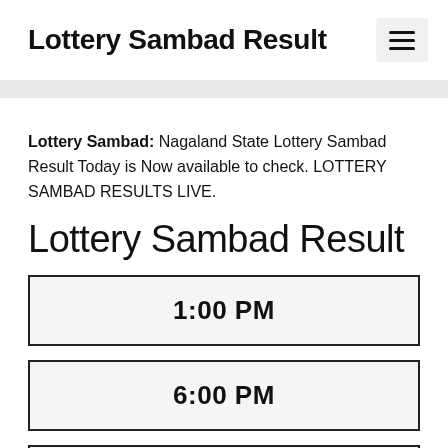Lottery Sambad Result
Lottery Sambad: Nagaland State Lottery Sambad Result Today is Now available to check. LOTTERY SAMBAD RESULTS LIVE.
Lottery Sambad Result
| 1:00 PM |
| 6:00 PM |
| 8:00 PM |